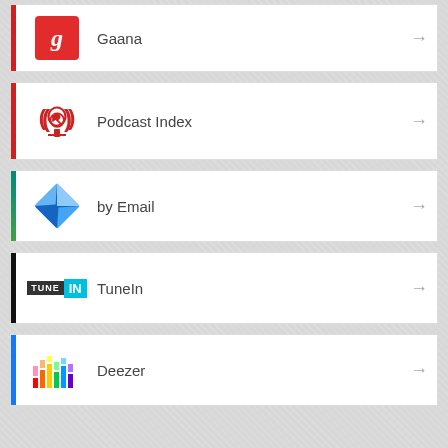Gaana
Podcast Index
by Email
TuneIn
Deezer
RSS
More Subscribe Options
Take